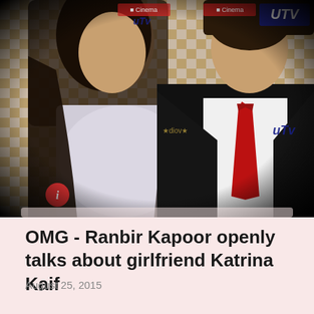[Figure (photo): Katrina Kaif in silver/white strapless dress and Ranbir Kapoor in black suit with red tie, standing in front of a checkered gold/white sponsor backdrop with UTV logos]
OMG - Ranbir Kapoor openly talks about girlfriend Katrina Kaif
August 25, 2015